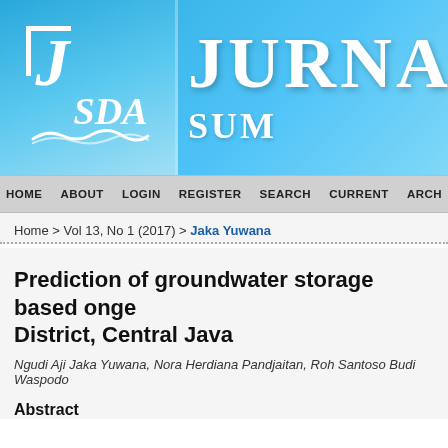[Figure (logo): JSDA journal logo with J letter and SDA text on blue gradient background with wave design]
JURNA SU
HOME   ABOUT   LOGIN   REGISTER   SEARCH   CURRENT   ARCH
Home > Vol 13, No 1 (2017) > Jaka Yuwana
Prediction of groundwater storage based onge District, Central Java
Ngudi Aji Jaka Yuwana, Nora Herdiana Pandjaitan, Roh Santoso Budi Waspodo
Abstract